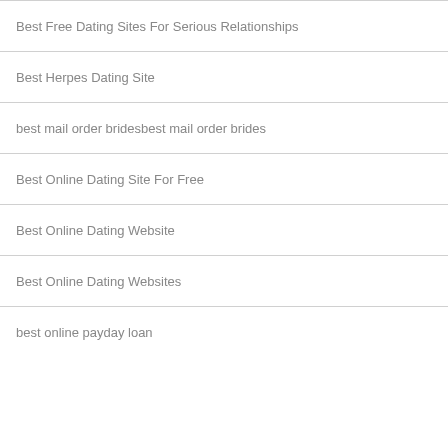Best Free Dating Sites For Serious Relationships
Best Herpes Dating Site
best mail order bridesbest mail order brides
Best Online Dating Site For Free
Best Online Dating Website
Best Online Dating Websites
best online payday loan